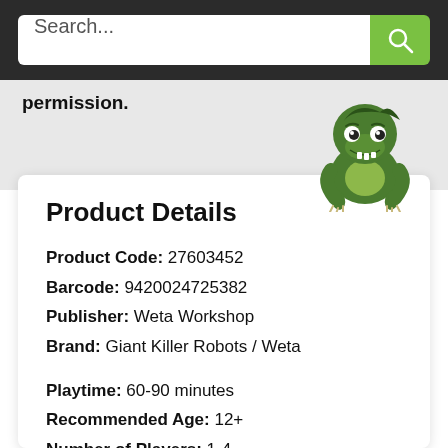Search...
permission.
[Figure (illustration): Green cartoon dinosaur / dragon mascot peeking over an edge, smiling, with claws visible]
Product Details
Product Code: 27603452
Barcode: 9420024725382
Publisher: Weta Workshop
Brand: Giant Killer Robots / Weta
Playtime: 60-90 minutes
Recommended Age: 12+
Number of Players: 1-4
Board Game Mechanics: Action Point